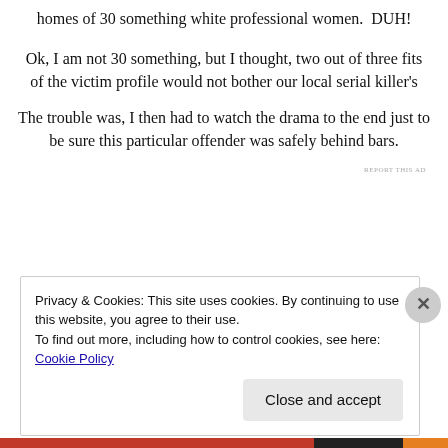homes of 30 something white professional women.  DUH!
Ok, I am not 30 something, but I thought, two out of three fits of the victim profile would not bother our local serial killer’s
The trouble was, I then had to watch the drama to the end just to be sure this particular offender was safely behind bars.
REPORT THIS AD
Privacy & Cookies: This site uses cookies. By continuing to use this website, you agree to their use.
To find out more, including how to control cookies, see here: Cookie Policy
Close and accept